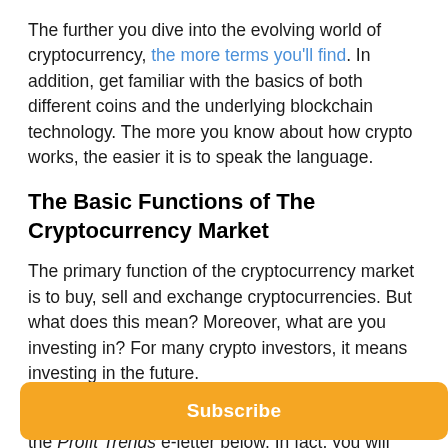The further you dive into the evolving world of cryptocurrency, the more terms you'll find. In addition, get familiar with the basics of both different coins and the underlying blockchain technology. The more you know about how crypto works, the easier it is to speak the language.
The Basic Functions of The Cryptocurrency Market
The primary function of the cryptocurrency market is to buy, sell and exchange cryptocurrencies. But what does this mean? Moreover, what are you investing in? For many crypto investors, it means investing in the future.
To learn more about the crypto boom, sign up for the Profit Trends e-letter below. In fact, you will gain access to daily stock trends, analysis and the best
Subscribe